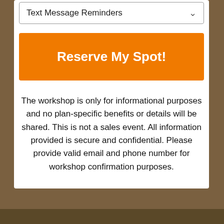Text Message Reminders
Reserve My Spot!
The workshop is only for informational purposes and no plan-specific benefits or details will be shared. This is not a sales event. All information provided is secure and confidential. Please provide valid email and phone number for workshop confirmation purposes.